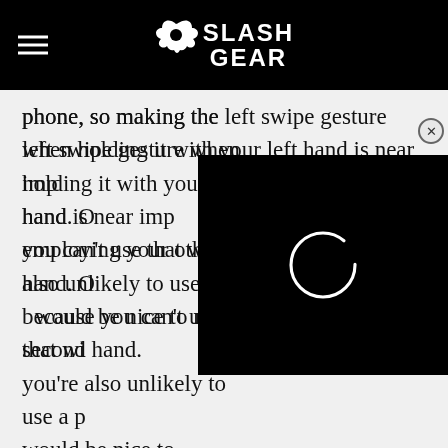SlashGear
phone, so making the left swipe gesture when holding it with your left hand is near impossible without employing your other hand. Of course, that also means because you can't use that with one hand, and you're also unlikely to use a phone one-handed, it would be nice to minimize use of the second hand.
[Figure (screenshot): Video player overlay with loading spinner ring on black background, with close (X) button in top right corner]